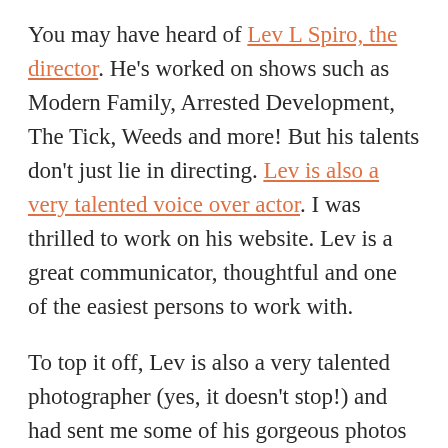You may have heard of Lev L Spiro, the director. He's worked on shows such as Modern Family, Arrested Development, The Tick, Weeds and more! But his talents don't just lie in directing. Lev is also a very talented voice over actor. I was thrilled to work on his website. Lev is a great communicator, thoughtful and one of the easiest persons to work with.
To top it off, Lev is also a very talented photographer (yes, it doesn't stop!) and had sent me some of his gorgeous photos to be considered for the website, which we did use for the main hero image. I took his original photo and darkened it to add more mystery and intrigue to it. I added soundwaves for texture and the steps looks like they are blending out to them. The mysterious character is leading you up and into other